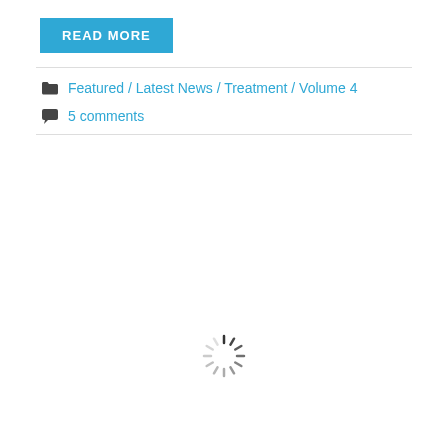READ MORE
Featured / Latest News / Treatment / Volume 4
5 comments
[Figure (other): Loading spinner icon (circular dashed spinner)]